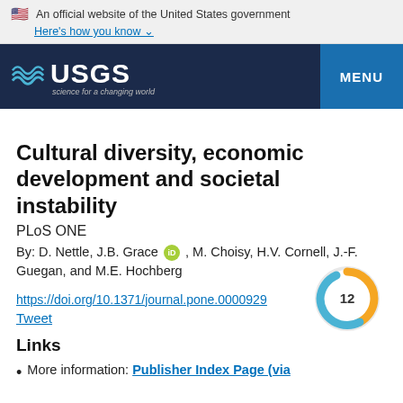An official website of the United States government Here’s how you know
[Figure (logo): USGS logo with waves icon and tagline 'science for a changing world' on dark navy navigation bar with MENU button]
Cultural diversity, economic development and societal instability
PLoS ONE
By: D. Nettle, J.B. Grace [ORCID], M. Choisy, H.V. Cornell, J.-F. Guegan, and M.E. Hochberg
https://doi.org/10.1371/journal.pone.0000929
Tweet
Links
More information: Publisher Index Page (via